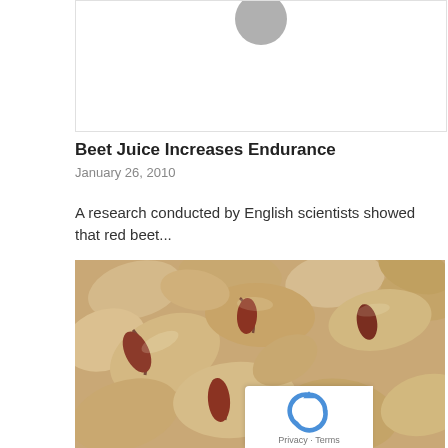[Figure (photo): Partial avatar/profile picture circle visible at top center, gray circle shape]
Beet Juice Increases Endurance
January 26, 2010
A research conducted by English scientists showed that red beet...
[Figure (photo): Close-up photograph of pistachios in their shells, tan/beige colored nuts piled together, some cracked open showing purple-red interior]
Privacy · Terms